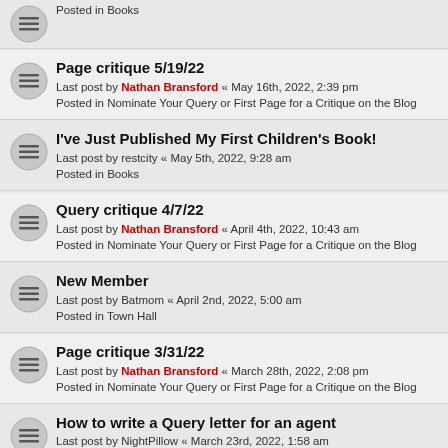Posted in Books
Page critique 5/19/22 - Last post by Nathan Bransford « May 16th, 2022, 2:39 pm - Posted in Nominate Your Query or First Page for a Critique on the Blog
I've Just Published My First Children's Book! - Last post by restcity « May 5th, 2022, 9:28 am - Posted in Books
Query critique 4/7/22 - Last post by Nathan Bransford « April 4th, 2022, 10:43 am - Posted in Nominate Your Query or First Page for a Critique on the Blog
New Member - Last post by Batmom « April 2nd, 2022, 5:00 am - Posted in Town Hall
Page critique 3/31/22 - Last post by Nathan Bransford « March 28th, 2022, 2:08 pm - Posted in Nominate Your Query or First Page for a Critique on the Blog
How to write a Query letter for an agent - Last post by NightPillow « March 23rd, 2022, 1:58 am - Posted in Ask Nathan
Query critique 3/24/22 - Last post by Nathan Bransford « March 21st, 2022, 11:46 am - Posted in Nominate Your Query or First Page for a Critique on the Blog
Page critique 3/17/22